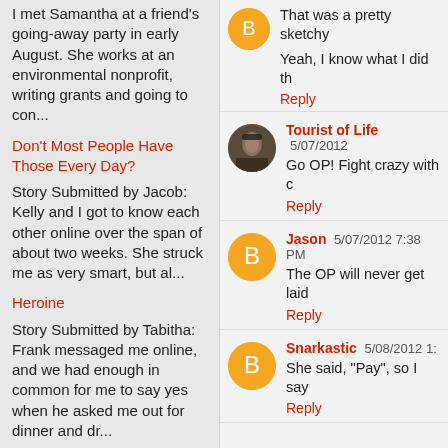I met Samantha at a friend's going-away party in early August.  She works at an environmental nonprofit, writing grants and going to con...
Don't Most People Have Those Every Day?
Story Submitted by Jacob: Kelly and I got to know each other online over the span of about two weeks.  She struck me as very smart, but al...
Heroine
Story Submitted by Tabitha: Frank messaged me online, and we had enough in common for me to say yes when he asked me out for dinner and dr...
That was a pretty sketchy
Yeah, I know what I did th
Reply
Tourist of Life  5/07/2012
Go OP! Fight crazy with c
Reply
Jason  5/07/2012 7:38 PM
The OP will never get laid
Reply
Snarkastic  5/08/2012 1:
She said, "Pay", so I say
Reply